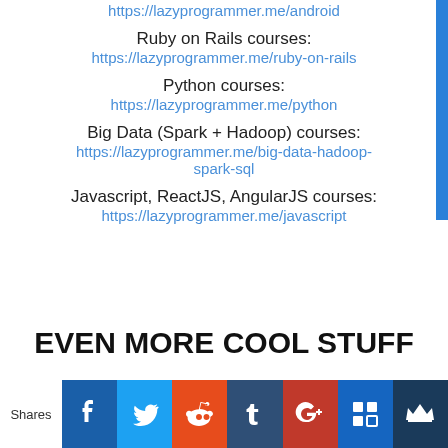https://lazyprogrammer.me/android
Ruby on Rails courses:
https://lazyprogrammer.me/ruby-on-rails
Python courses:
https://lazyprogrammer.me/python
Big Data (Spark + Hadoop) courses:
https://lazyprogrammer.me/big-data-hadoop-spark-sql
Javascript, ReactJS, AngularJS courses:
https://lazyprogrammer.me/javascript
EVEN MORE COOL STUFF
[Figure (infographic): Social share bar with Facebook, Twitter, Reddit, Tumblr, Google+, ShareThis, and crown icon buttons. Left label reads 'Shares'.]